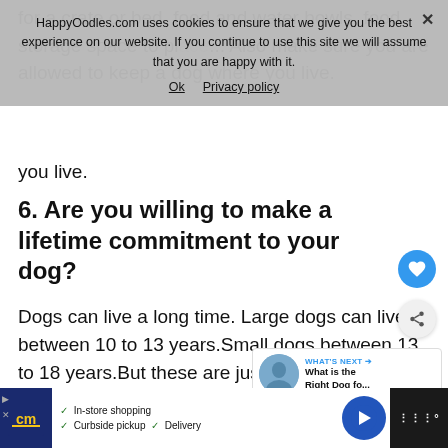for a crate or bed, food and water bowls, food storage space to place...Also make sure you are allowed to keep a dog where you live.
HappyOodles.com uses cookies to ensure that we give you the best experience on our website. If you continue to use this site we will assume that you are happy with it.
6. Are you willing to make a lifetime commitment to your dog?
Dogs can live a long time. Large dogs can live between 10 to 13 years.Small dogs between 13 to 18 years.But these are just av...
[Figure (infographic): What's Next widget with circular thumbnail and text reading 'What is the Right Dog fo...']
[Figure (infographic): Bottom advertisement bar with CM logo, In-store shopping, Curbside pickup, Delivery options and arrow icon]